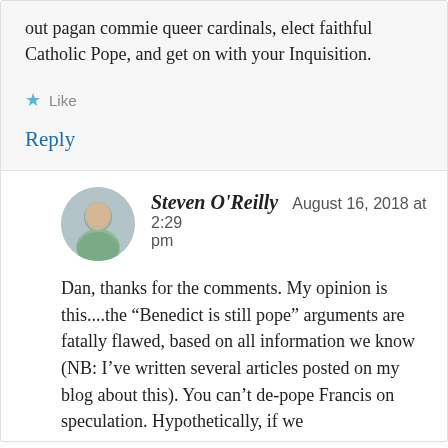out pagan commie queer cardinals, elect faithful Catholic Pope, and get on with your Inquisition.
★ Like
Reply
Steven O'Reilly   August 16, 2018 at 2:29 pm
Dan, thanks for the comments. My opinion is this....the “Benedict is still pope” arguments are fatally flawed, based on all information we know (NB: I’ve written several articles posted on my blog about this). You can’t de-pope Francis on speculation. Hypothetically, if we